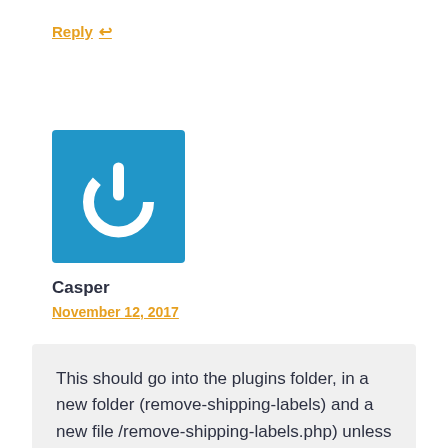Reply ↩
[Figure (illustration): Blue square avatar with white power button icon]
Casper
November 12, 2017
This should go into the plugins folder, in a new folder (remove-shipping-labels) and a new file /remove-shipping-labels.php) unless you only want to apply this to your current theme